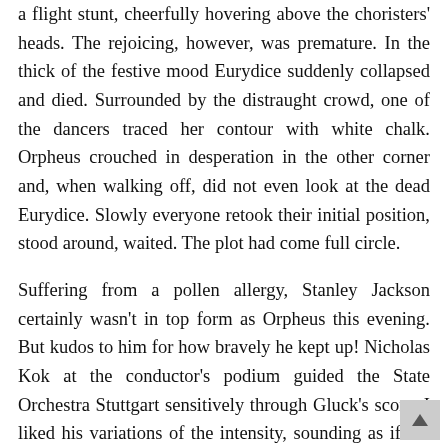a flight stunt, cheerfully hovering above the choristers' heads. The rejoicing, however, was premature. In the thick of the festive mood Eurydice suddenly collapsed and died. Surrounded by the distraught crowd, one of the dancers traced her contour with white chalk. Orpheus crouched in desperation in the other corner and, when walking off, did not even look at the dead Eurydice. Slowly everyone retook their initial position, stood around, waited. The plot had come full circle.
Suffering from a pollen allergy, Stanley Jackson certainly wasn't in top form as Orpheus this evening. But kudos to him for how bravely he kept up! Nicholas Kok at the conductor's podium guided the State Orchestra Stuttgart sensitively through Gluck's score. I liked his variations of the intensity, sounding as if the music could derive from an invisible second orchestra in the background. Irma Mihelič's Eurydice was respectable, Maria Koryagova as L'Amour superb. Her warm, full timbre pampered the ears.